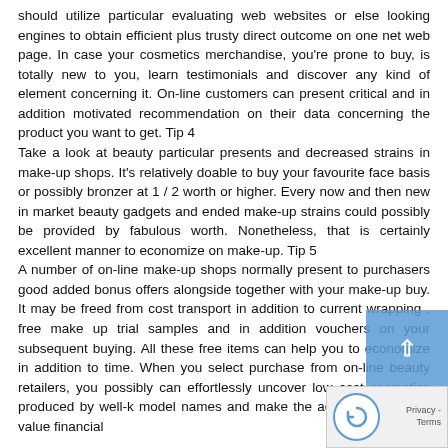should utilize particular evaluating web websites or else looking engines to obtain efficient plus trusty direct outcome on one net web page. In case your cosmetics merchandise, you're prone to buy, is totally new to you, learn testimonials and discover any kind of element concerning it. On-line customers can present critical and in addition motivated recommendation on their data concerning the product you want to get. Tip 4
Take a look at beauty particular presents and decreased strains in make-up shops. It's relatively doable to buy your favourite face basis or possibly bronzer at 1 / 2 worth or higher. Every now and then new in market beauty gadgets and ended make-up strains could possibly be provided by fabulous worth. Nonetheless, that is certainly excellent manner to economize on make-up. Tip 5
A number of on-line make-up shops normally present to purchasers good added bonus offers alongside together with your make-up buy. It may be freed from cost transport in addition to current wrapping , free make up trial samples and in addition vouchers on your subsequent buying. All these free items can help you to economize in addition to time. When you select purchase from on-line beauty retailers, you possibly can effortlessly uncover low cost cosmetics produced by well-k model names and make the additional sensible value financial
[Figure (other): Blue scroll-up button overlay in the bottom right corner, and a reCAPTCHA widget below it showing a circular arrow icon and Privacy - Terms text.]